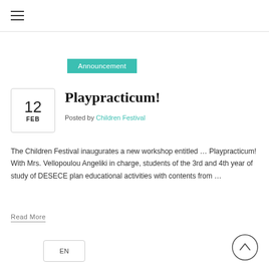≡ (hamburger menu)
Announcement
Playpracticum!
Posted by Children Festival
The Children Festival inaugurates a new workshop entitled … Playpracticum! With Mrs. Vellopoulou Angeliki in charge, students of the 3rd and 4th year of study of DESECE plan educational activities with contents from …
Read More
EN